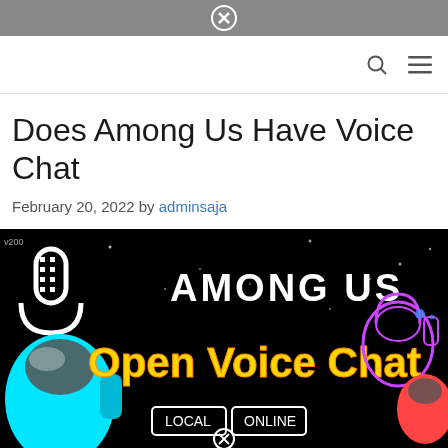Does Among Us Have Voice Chat
February 20, 2022 by adminsaja
[Figure (screenshot): Among Us Open Voice Chat promotional image on black background with cyan and orange characters, microphone, text reading 'AMONG US Open Voice Chat LOCAL ONLINE']